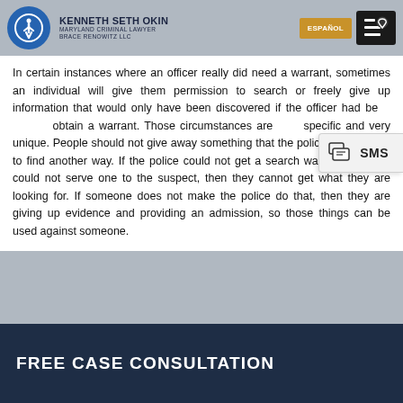Drug Investigations
KENNETH SETH OKIN — MARYLAND CRIMINAL LAWYER — BRACE RENOWITZ LLC | ESPAÑOL | [phone/menu]
In certain instances where an officer really did need a warrant, sometimes an individual will give them permission to search or freely give up information that would only have been discovered if the officer had been able to obtain a warrant. Those circumstances are very specific and very unique. People should not give away something that the police should have to find another way. If the police could not get a search warrant and thus could not serve one to the suspect, then they cannot get what they are looking for. If someone does not make the police do that, then they are giving up evidence and providing an admission, so those things can be used against someone.
[Figure (other): SMS chat button popup overlay]
FREE CASE CONSULTATION